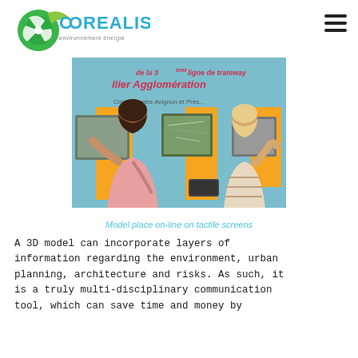[Figure (logo): COREALIS logo with text 'environnement énergie' and a green/teal circular icon]
[Figure (photo): Photo of two people (seen from behind) interacting with tactile screens on a display about Montpellier Agglomération tram line 3. The display has orange panels, mounted screens, and a teal/blue background.]
Model place on-line on tactile screens
A 3D model can incorporate layers of information regarding the environment, urban planning, architecture and risks. As such, it is a truly multi-disciplinary communication tool, which can save time and money by